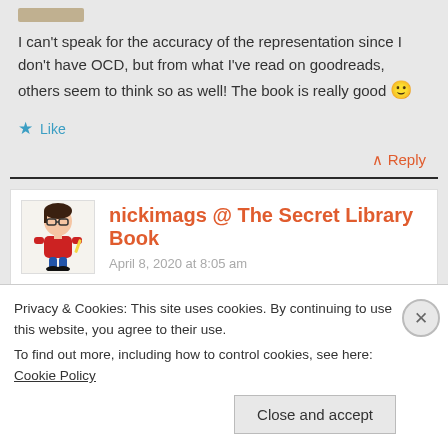I can't speak for the accuracy of the representation since I don't have OCD, but from what I've read on goodreads, others seem to think so as well! The book is really good 🙂
Like
↑ Reply
nickimags @ The Secret Library Book
April 8, 2020 at 8:05 am
Privacy & Cookies: This site uses cookies. By continuing to use this website, you agree to their use.
To find out more, including how to control cookies, see here: Cookie Policy
Close and accept